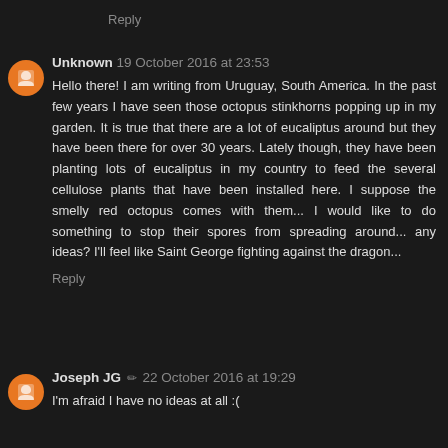Reply
Unknown  19 October 2016 at 23:53
Hello there! I am writing from Uruguay, South America. In the past few years I have seen those octopus stinkhorns popping up in my garden. It is true that there are a lot of eucaliptus around but they have been there for over 30 years. Lately though, they have been planting lots of eucaliptus in my country to feed the several cellulose plants that have been installed here. I suppose the smelly red octopus comes with them... I would like to do something to stop their spores from spreading around... any ideas? I'll feel like Saint George fighting against the dragon...
Reply
Joseph JG  ✏  22 October 2016 at 19:29
I'm afraid I have no ideas at all :(